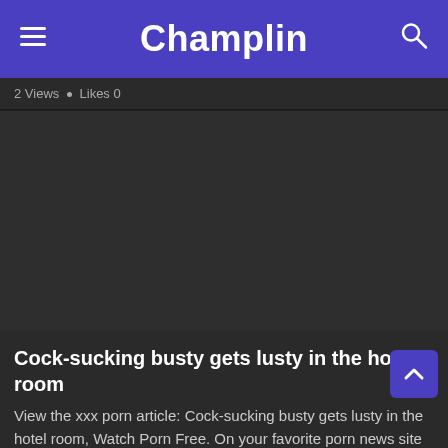Champlin
2 Views · Likes 0
[Figure (screenshot): Dark video thumbnail placeholder area]
Cock-sucking busty gets lusty in the hotel room
View the xxx porn article: Cock-sucking busty gets lusty in the hotel room, Watch Porn Free. On your favorite porn news site CHAMPLIN.INFO!
2 Views · Likes 0
[Figure (screenshot): Dark video thumbnail placeholder area at bottom]